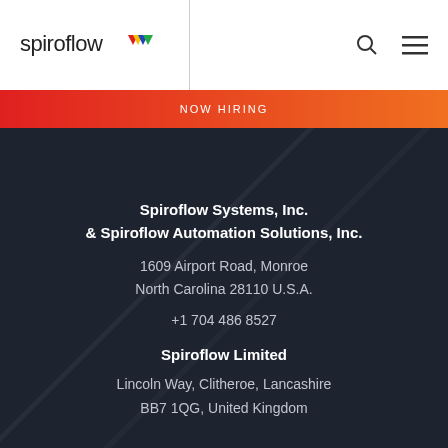[Figure (logo): Spiroflow logo with colorful arrow/chevron icon followed by text 'spiroflow']
NOW HIRING
Spiroflow Systems, Inc.
& Spiroflow Automation Solutions, Inc.
1609 Airport Road, Monroe
North Carolina 28110 U.S.A.
+1 704 486 8527
Spiroflow Limited
Lincoln Way, Clitheroe, Lancashire
BB7 1QG, United Kingdom